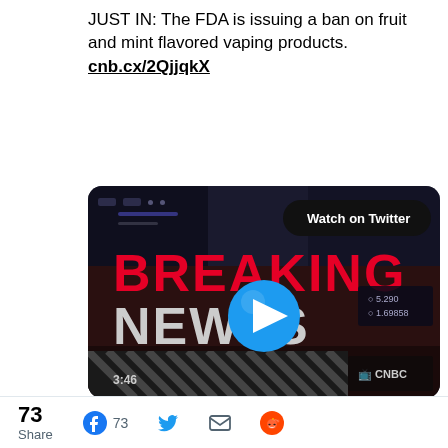JUST IN: The FDA is issuing a ban on fruit and mint flavored vaping products. cnb.cx/2QjjqkX
[Figure (screenshot): CNBC Breaking News video thumbnail with 'Watch on Twitter' button and play icon, showing BREAKING NEWS lower third graphic with CNBC logo]
6:27 PM · Jan 2, 2020
❤ 13   Reply   Copy link
73 Share   Facebook 73   Twitter   Email   Reddit